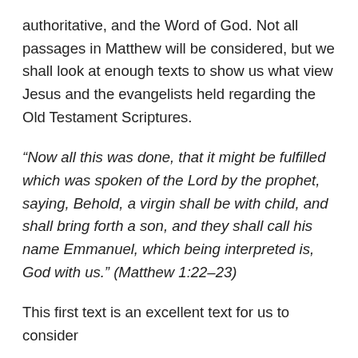authoritative, and the Word of God. Not all passages in Matthew will be considered, but we shall look at enough texts to show us what view Jesus and the evangelists held regarding the Old Testament Scriptures.
“Now all this was done, that it might be fulfilled which was spoken of the Lord by the prophet, saying, Behold, a virgin shall be with child, and shall bring forth a son, and they shall call his name Emmanuel, which being interpreted is, God with us.” (Matthew 1:22–23)
This first text is an excellent text for us to consider